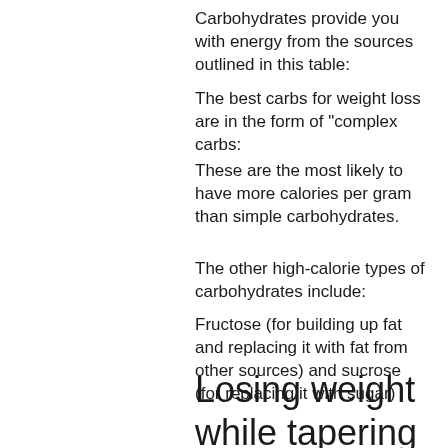Carbohydrates provide you with energy from the sources outlined in this table:
The best carbs for weight loss are in the form of "complex carbs:
These are the most likely to have more calories per gram than simple carbohydrates.
The other high-calorie types of carbohydrates include:
Fructose (for building up fat and replacing it with fat from other sources) and sucrose (for replacing it with sugar)
Losing weight while tapering prednisone